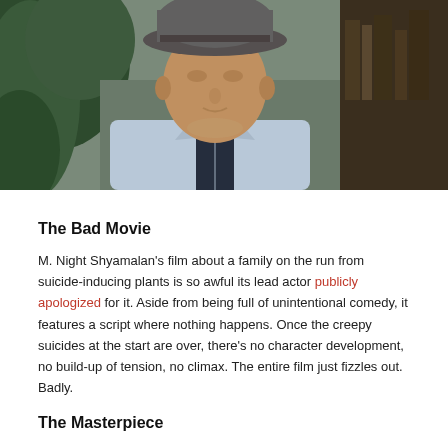[Figure (photo): A man wearing a light blue button-up shirt and a grey hat, photographed from the chest up, with green foliage in the background on the left and dark bookshelves on the right.]
The Bad Movie
M. Night Shyamalan's film about a family on the run from suicide-inducing plants is so awful its lead actor publicly apologized for it. Aside from being full of unintentional comedy, it features a script where nothing happens. Once the creepy suicides at the start are over, there's no character development, no build-up of tension, no climax. The entire film just fizzles out. Badly.
The Masterpiece
The critics at Den of Geek see things differently. They argue The Happening's flaws are the result of M. Night Shyamalan deliberately structuring the movie backward